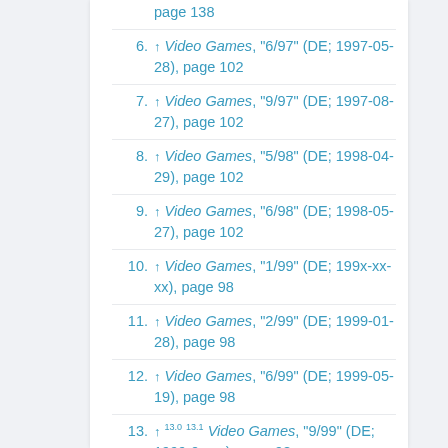↑ Video Games, "6/97" (DE; 1997-05-28), page 102
↑ Video Games, "9/97" (DE; 1997-08-27), page 102
↑ Video Games, "5/98" (DE; 1998-04-29), page 102
↑ Video Games, "6/98" (DE; 1998-05-27), page 102
↑ Video Games, "1/99" (DE; 199x-xx-xx), page 98
↑ Video Games, "2/99" (DE; 1999-01-28), page 98
↑ Video Games, "6/99" (DE; 1999-05-19), page 98
↑ 13.0 13.1 Video Games, "9/99" (DE; 1999-0x-xx), page 98
↑ Video Games, "10/99" (DE; 1999-09-22), page 82
↑ Video Games, "11/99" (DE; 1999-10-20), page 114